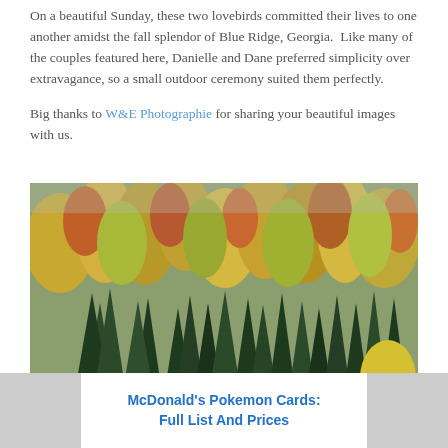On a beautiful Sunday, these two lovebirds committed their lives to one another amidst the fall splendor of Blue Ridge, Georgia.  Like many of the couples featured here, Danielle and Dane preferred simplicity over extravagance, so a small outdoor ceremony suited them perfectly.

Big thanks to W&E Photographie for sharing your beautiful images with us.
[Figure (photo): Aerial view of a dense mixed forest in autumn fall colors — yellow, orange, red, and green trees covering a hillside.]
McDonald's Pokemon Cards: Full List And Prices